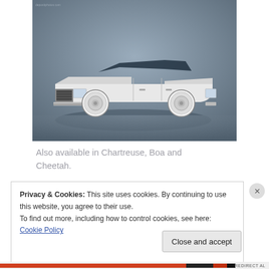[Figure (photo): White classic Cadillac Eldorado convertible photographed against a grey studio background, three-quarter front view]
Also available in Chartreuse, Boa and Cheetah.
Privacy & Cookies: This site uses cookies. By continuing to use this website, you agree to their use.
To find out more, including how to control cookies, see here: Cookie Policy
Close and accept